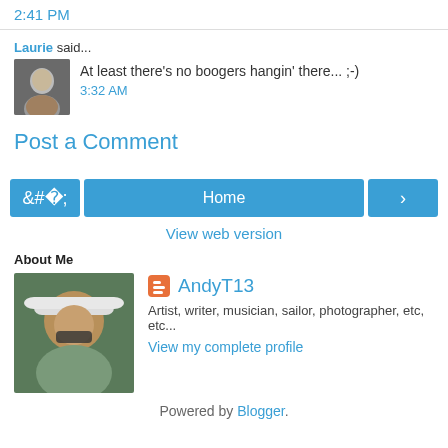2:41 PM
Laurie said... At least there's no boogers hangin' there... ;-) 3:32 AM
Post a Comment
[Figure (screenshot): Navigation buttons: left arrow, Home, right arrow]
View web version
About Me
[Figure (photo): Profile photo of AndyT13, man wearing white hat and sunglasses]
AndyT13 - Artist, writer, musician, sailor, photographer, etc, etc...
View my complete profile
Powered by Blogger.